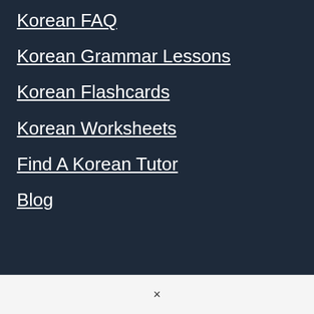Korean FAQ
Korean Grammar Lessons
Korean Flashcards
Korean Worksheets
Find A Korean Tutor
Blog
×